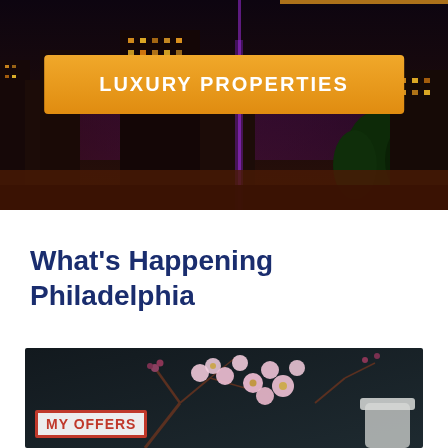[Figure (photo): Night cityscape banner with illuminated buildings; orange button overlay reading LUXURY PROPERTIES]
What's Happening Philadelphia
[Figure (photo): Cherry blossom branches with pink flowers against dark background, with a white vase partially visible; MY OFFERS badge in lower left corner]